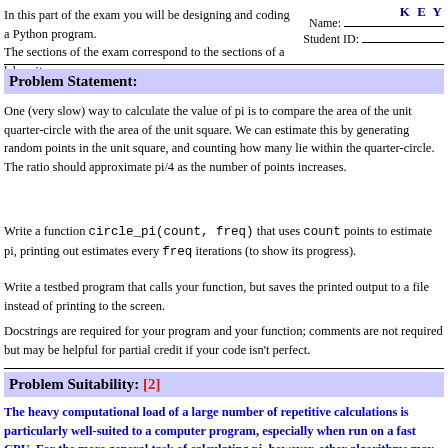K E Y
Name:
Student ID:
In this part of the exam you will be designing and coding a Python program.
The sections of the exam correspond to the sections of a lab writeup.
Problem Statement:
One (very slow) way to calculate the value of pi is to compare the area of the unit quarter-circle with the area of the unit square. We can estimate this by generating random points in the unit square, and counting how many lie within the quarter-circle. The ratio should approximate pi/4 as the number of points increases.
Write a function circle_pi(count, freq) that uses count points to estimate pi, printing out estimates every freq iterations (to show its progress).
Write a testbed program that calls your function, but saves the printed output to a file instead of printing to the screen.
Docstrings are required for your program and your function; comments are not required but may be helpful for partial credit if your code isn't perfect.
Problem Suitability: [2]
The heavy computational load of a large number of repetitive calculations is particularly well-suited to a computer program, especially when run on a fast CPU. For the more general task of calculating pi, however, other algorithms may be faster. This algorithm could also be done by hand (e.g.,